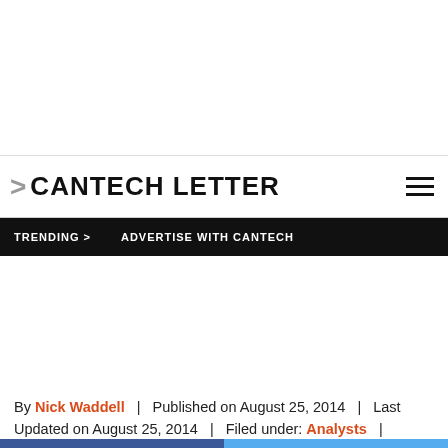CANTECH LETTER
TRENDING > ADVERTISE WITH CANTECH
By Nick Waddell | Published on August 25, 2014 | Last Updated on August 25, 2014 | Filed under: Analysts | Stock: pfm